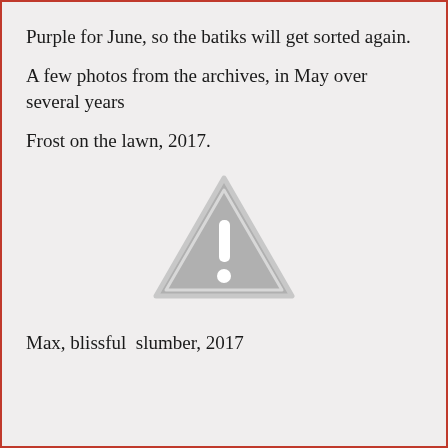Purple for June, so the batiks will get sorted again.
A few photos from the archives, in May over several years
Frost on the lawn, 2017.
[Figure (illustration): A grey warning/caution triangle icon with an exclamation mark, indicating a missing or unavailable image placeholder.]
Max, blissful  slumber, 2017